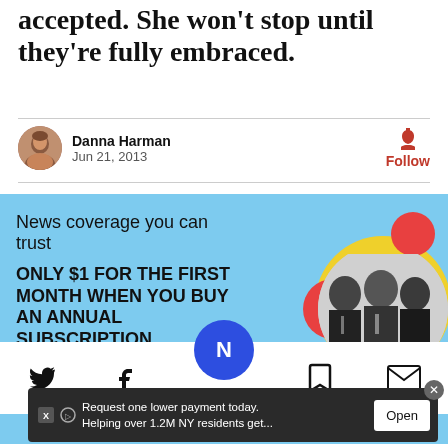accepted. She won't stop until they're fully embraced.
Danna Harman
Jun 21, 2013
[Figure (infographic): Subscription advertisement banner with light blue background. Text reads 'News coverage you can trust' and 'ONLY $1 FOR THE FIRST MONTH WHEN YOU BUY AN ANNUAL SUBSCRIPTION'. Orange SUBSCRIBE button. Right side has decorative circles in red and yellow with black-and-white photo of three men in suits.]
[Figure (screenshot): Bottom navigation toolbar with Twitter, Facebook, Newsweek logo (blue circle with N), bookmark, and email icons. Blue circular Newsweek button floats above the toolbar center.]
[Figure (screenshot): Dark banner ad at bottom: 'Request one lower payment today. Helping over 1.2M NY residents get...' with Open button and X close button.]